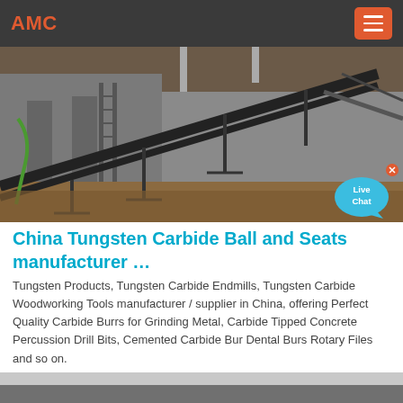AMC
[Figure (photo): Industrial conveyor belt machinery at a construction or mining site, showing metal framework and belt structure outdoors]
China Tungsten Carbide Ball and Seats manufacturer …
Tungsten Products, Tungsten Carbide Endmills, Tungsten Carbide Woodworking Tools manufacturer / supplier in China, offering Perfect Quality Carbide Burrs for Grinding Metal, Carbide Tipped Concrete Percussion Drill Bits, Cemented Carbide Bur Dental Burs Rotary Files and so on.